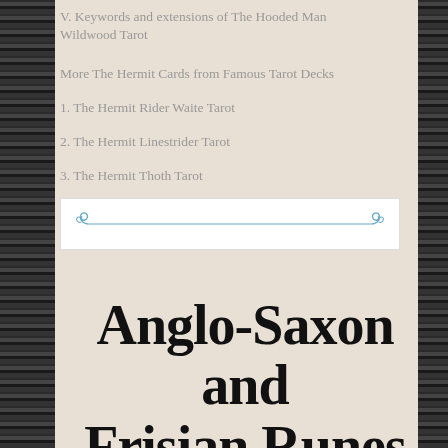V. Keywords and extensions of The Hooded Man Wildwood Tarot
More The Hermit Cards from Famous Tarot Decks
1. The Hermit Rider Waite Tarot
2. The Hermit Linestrider Tarot
3. The Hermit Thoth Tarot
[Figure (illustration): Decorative horizontal divider with ornamental scroll/spiral motifs on each end, rendered as a thin blue line on white background]
Anglo-Saxon and Frisian Runes